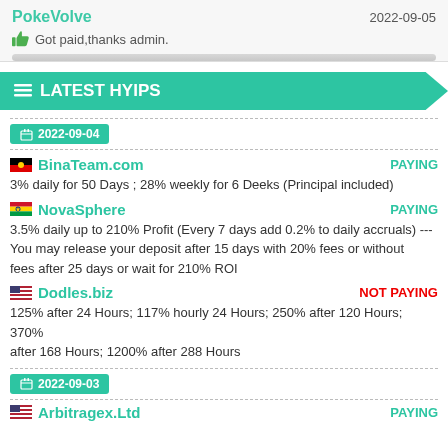PokeVolve
2022-09-05
Got paid,thanks admin.
LATEST HYIPS
2022-09-04
BinaTeam.com
PAYING
3% daily for 50 Days ; 28% weekly for 6 Deeks (Principal included)
NovaSphere
PAYING
3.5% daily up to 210% Profit (Every 7 days add 0.2% to daily accruals) --- You may release your deposit after 15 days with 20% fees or without fees after 25 days or wait for 210% ROI
Dodles.biz
NOT PAYING
125% after 24 Hours; 117% hourly 24 Hours; 250% after 120 Hours; 370% after 168 Hours; 1200% after 288 Hours
2022-09-03
Arbitragex.Ltd
PAYING